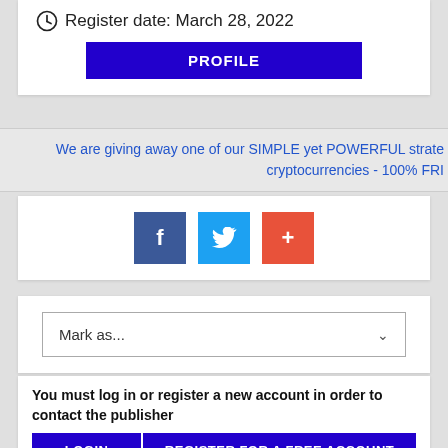Register date: March 28, 2022
PROFILE
We are giving away one of our SIMPLE yet POWERFUL strate cryptocurrencies - 100% FRI
[Figure (infographic): Social sharing buttons: Facebook (dark blue), Twitter (light blue), Plus/Add (red-orange)]
Mark as...
You must log in or register a new account in order to contact the publisher
LOGIN
REGISTER FOR A FREE ACCOUNT